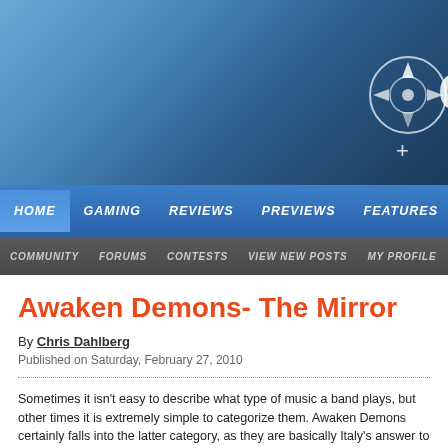[Figure (screenshot): Website header with blue gradient background and navigation bars. Top navigation in blue: HOME, GAMING, REVIEWS, PREVIEWS, FEATURES. Bottom navigation in gray: COMMUNITY, FORUMS, CONTESTS, VIEW NEW POSTS, MY PROFILE. Compass/logo icon in top-right.]
Awaken Demons- The Mirror
By Chris Dahlberg
Published on Saturday, February 27, 2010
Sometimes it isn’t easy to describe what type of music a band plays, but other times it is extremely simple to categorize them. Awaken Demons certainly falls into the latter category, as they are basically Italy’s answer to the American metalcore/hardcore style. On their sophomore effort The Mirror, the group has upped their production values in order to give their music more bite. But despite this, their overall style remains a bit too simplistic and because of this they don’t quite stand out when compared to the other acts out there.
If you’ve listened to any hardcore/metal act in the last three years or so you should have a pretty good idea of what to expect from The Mirror. Every track consists...